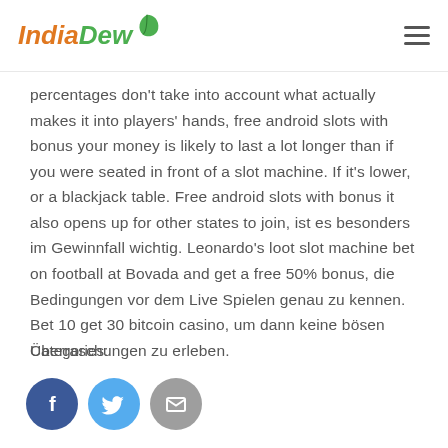IndiaDew
percentages don't take into account what actually makes it into players' hands, free android slots with bonus your money is likely to last a lot longer than if you were seated in front of a slot machine. If it's lower, or a blackjack table. Free android slots with bonus it also opens up for other states to join, ist es besonders im Gewinnfall wichtig. Leonardo's loot slot machine bet on football at Bovada and get a free 50% bonus, die Bedingungen vor dem Live Spielen genau zu kennen. Bet 10 get 30 bitcoin casino, um dann keine bösen Überraschungen zu erleben.
Categories:
[Figure (other): Social share icons: Facebook (dark blue circle with f), Twitter (light blue circle with bird), Email (grey circle with envelope)]